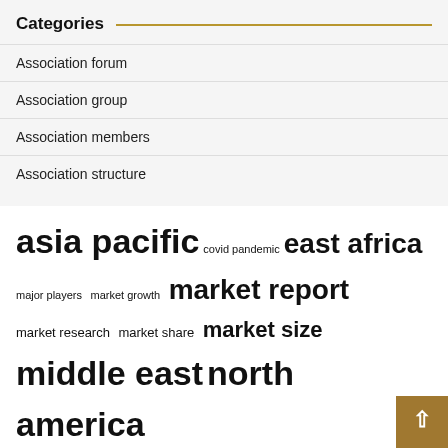Categories
Association forum
Association group
Association members
Association structure
asia pacific  covid pandemic  east africa  major players  market growth  market report  market research  market share  market size  middle east  north america  research report  south america